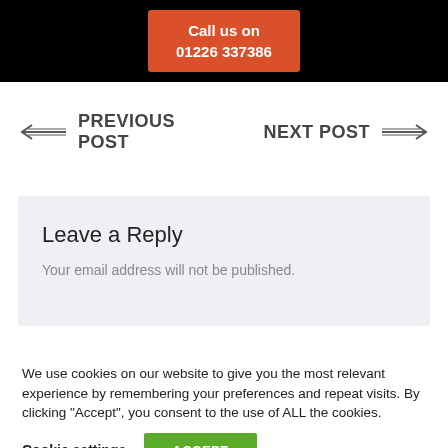Call us on 01226 337386
PREVIOUS POST
NEXT POST
Leave a Reply
Your email address will not be published.
We use cookies on our website to give you the most relevant experience by remembering your preferences and repeat visits. By clicking “Accept”, you consent to the use of ALL the cookies.
Cookie settings
ACCEPT